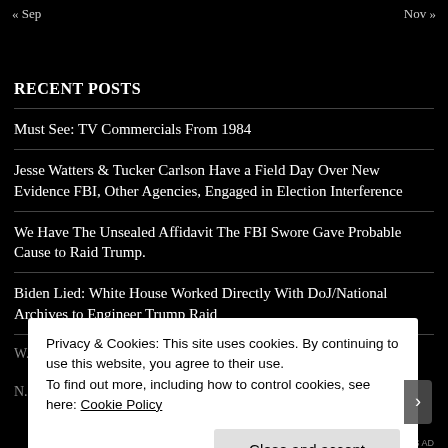« Sep    Nov »
RECENT POSTS
Must See: TV Commercials From 1984
Jesse Watters & Tucker Carlson Have a Field Day Over New Evidence FBI, Other Agencies, Engaged in Election Interference
We Have The Unsealed Affidavit The FBI Swore Gave Probable Cause to Raid Trump.
Biden Lied: White House Worked Directly With DoJ/National Archives to Engineer Trump Raid
Privacy & Cookies: This site uses cookies. By continuing to use this website, you agree to their use.
To find out more, including how to control cookies, see here: Cookie Policy
Close and accept